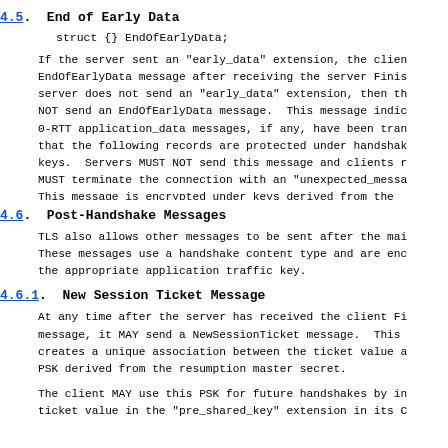4.5.  End of Early Data
If the server sent an "early_data" extension, the client MUST send an EndOfEarlyData message after receiving the server Finished message. If the server does not send an "early_data" extension, then the client MUST NOT send an EndOfEarlyData message.  This message indicates that all 0-RTT application_data messages, if any, have been transmitted and that the following records are protected under handshake traffic keys.  Servers MUST NOT send this message and clients receiving it MUST terminate the connection with an "unexpected_message" alert. This message is encrypted under keys derived from the client_early_traffic_secret.
4.6.  Post-Handshake Messages
TLS also allows other messages to be sent after the main handshake. These messages use a handshake content type and are encrypted under the appropriate application traffic key.
4.6.1.  New Session Ticket Message
At any time after the server has received the client Finished message, it MAY send a NewSessionTicket message.  This message creates a unique association between the ticket value and a PSK derived from the resumption master secret.
The client MAY use this PSK for future handshakes by including the ticket value in the "pre_shared_key" extension in its ClientHello.